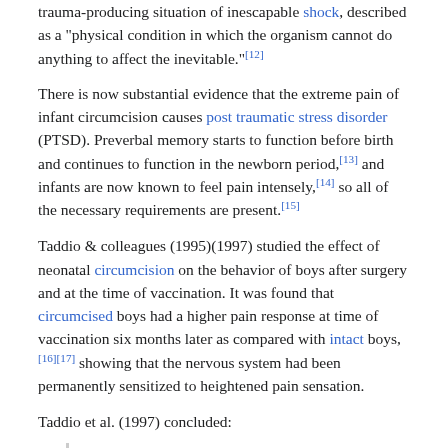trauma-producing situation of inescapable shock, described as a "physical condition in which the organism cannot do anything to affect the inevitable."[12]
There is now substantial evidence that the extreme pain of infant circumcision causes post traumatic stress disorder (PTSD). Preverbal memory starts to function before birth and continues to function in the newborn period,[13] and infants are now known to feel pain intensely,[14] so all of the necessary requirements are present.[15]
Taddio & colleagues (1995)(1997) studied the effect of neonatal circumcision on the behavior of boys after surgery and at the time of vaccination. It was found that circumcised boys had a higher pain response at time of vaccination six months later as compared with intact boys,[16][17] showing that the nervous system had been permanently sensitized to heightened pain sensation.
Taddio et al. (1997) concluded:
Although postsurgical central sensitisation (allodynia and hyperalgesia) can extend to sites of the body distal from the wound, suggesting a supraspinal effect, the long-term